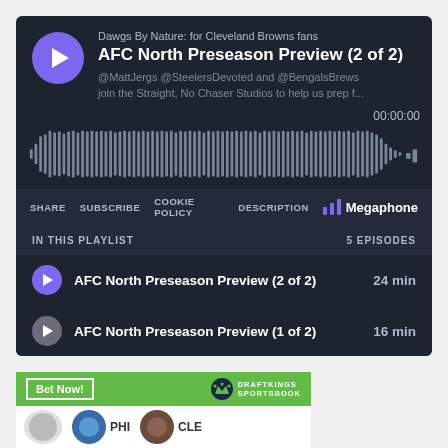[Figure (screenshot): Megaphone podcast player widget for 'Dawgs By Nature: for Cleveland Browns fans' showing episode 'AFC North Preseason Preview (2 of 2)' with waveform audio visualizer, controls (SHARE, SUBSCRIBE, COOKIE POLICY, DESCRIPTION), and playlist section with 5 episodes including AFC North Preseason Preview (2 of 2) - 24 min and AFC North Preseason Preview (1 of 2) - 16 min]
[Figure (screenshot): DraftKings Sportsbook banner with green header showing 'Bet Now!' button and DraftKings logo, with team logos row below]